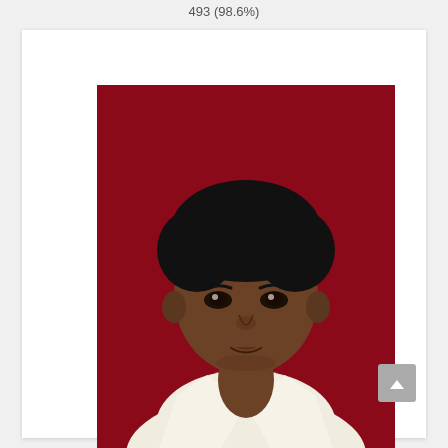493 (98.6%)
[Figure (photo): Portrait photo of a young male student wearing a white shirt, against a dark red/maroon background. The student has black hair and is looking directly at the camera with a slight smile.]